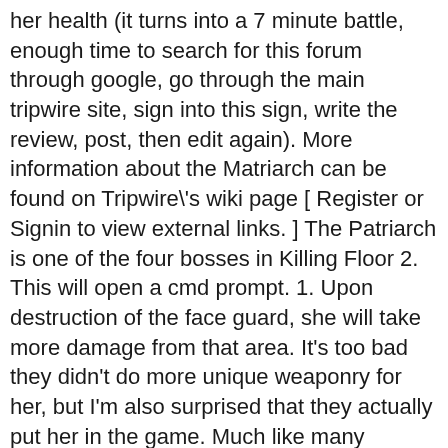her health (it turns into a 7 minute battle, enough time to search for this forum through google, go through the main tripwire site, sign into this sign, write the review, post, then edit again). More information about the Matriarch can be found on Tripwire\'s wiki page [ Register or Signin to view external links. ] The Patriarch is one of the four bosses in Killing Floor 2. This will open a cmd prompt. 1. Upon destruction of the face guard, she will take more damage from that area. It's too bad they didn't do more unique weaponry for her, but I'm also surprised that they actually put her in the game. Much like many features leaked during that time, she was planned in advance. Name:Rachel Clamely Previous Last Sighting: (Believed deceased)The London Underground (Former) Occupation:Horzine Science Division Current Mental Status:Insane Known Relatives:Kevin Clamely (AKA: The Patriarch) Mercs, We have some good news! The seasonal Yuletide Horrors update of Killing Floor 2 launched on December 10, 2019, which brought New Weapons, Enemies, a new map and more contents. Killing